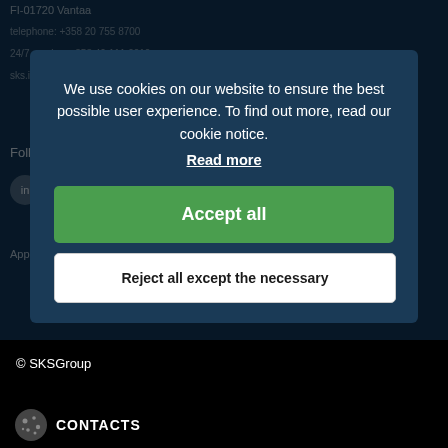FI-01720 Vantaa
We use cookies on our website to ensure the best possible user experience. To find out more, read our cookie notice.
Read more
Accept all
Reject all except the necessary
Follow us
Apply fo... ors.
© SKSGroup
CONTACTS